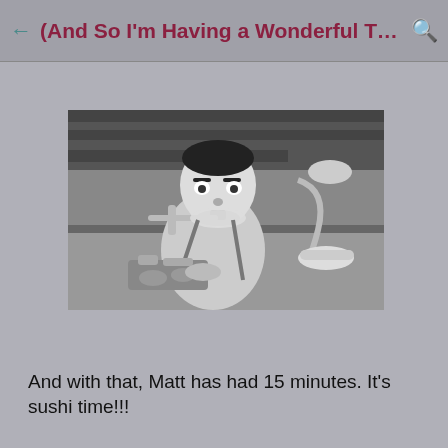(And So I'm Having a Wonderful Time, But I...
[Figure (photo): Black and white still from a Charlie Chaplin film (Modern Times), showing a man being fed by a mechanical eating machine while seated at a table with various mechanical apparatus and a bowl.]
And with that, Matt has had 15 minutes.  It's sushi time!!!